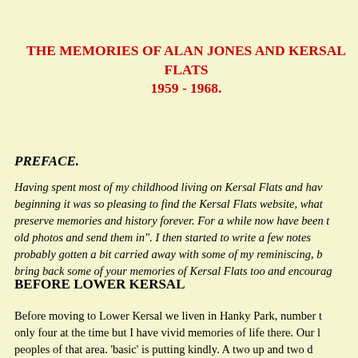THE MEMORIES OF ALAN JONES AND KERSAL FLATS 1959 - 1968.
PREFACE.
Having spent most of my childhood living on Kersal Flats and having beginning it was so pleasing to find the Kersal Flats website, what preserve memories and history forever. For a while now have been old photos and send them in". I then started to write a few notes probably gotten a bit carried away with some of my reminiscing, b bring back some of your memories of Kersal Flats too and encourag
BEFORE LOWER KERSAL
Before moving to Lower Kersal we liven in Hanky Park, number only four at the time but I have vivid memories of life there. Our peoples of that area. 'basic' is putting kindly. A two up and two d